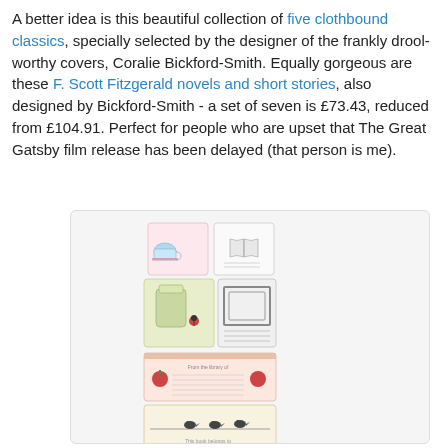A better idea is this beautiful collection of five clothbound classics, specially selected by the designer of the frankly drool-worthy covers, Coralie Bickford-Smith. Equally gorgeous are these F. Scott Fitzgerald novels and short stories, also designed by Bickford-Smith - a set of seven is £73.43, reduced from £104.91. Perfect for people who are upset that The Great Gatsby film release has been delayed (that person is me).
[Figure (photo): A photograph of bookplate sticker sheets featuring illustrated designs including teacups, books, frames, birds, and decorative borders in pastel colors.]